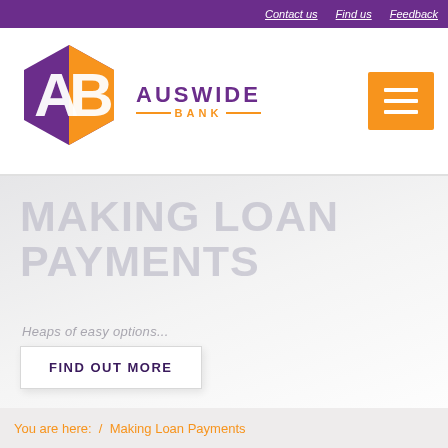Contact us  Find us  Feedback
[Figure (logo): Auswide Bank logo with hexagonal AB icon in purple and orange, beside purple text AUSWIDE BANK]
MAKING LOAN PAYMENTS
Heaps of easy options...
FIND OUT MORE
You are here:  /  Making Loan Payments